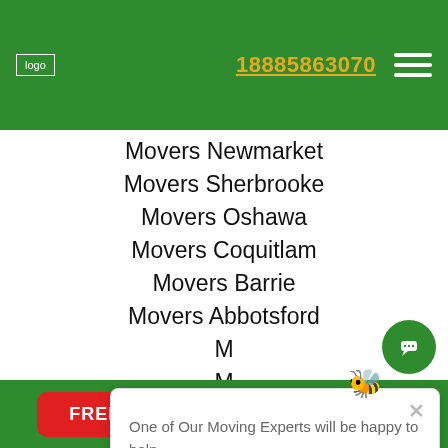logo | 18885863070 | menu
Movers Newmarket
Movers Sherbrooke
Movers Oshawa
Movers Coquitlam
Movers Barrie
Movers Abbotsford
M[obscured]
M[obscured]
Mov[obscured]
Movers Chilliwack
One of Our Moving Experts will be happy to help.
FREE QUOTE | CALL NOW